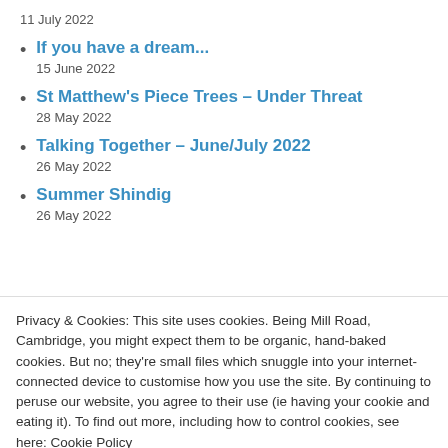11 July 2022
If you have a dream...
15 June 2022
St Matthew's Piece Trees – Under Threat
28 May 2022
Talking Together – June/July 2022
26 May 2022
Summer Shindig
26 May 2022
Privacy & Cookies: This site uses cookies. Being Mill Road, Cambridge, you might expect them to be organic, hand-baked cookies. But no; they're small files which snuggle into your internet-connected device to customise how you use the site. By continuing to peruse our website, you agree to their use (ie having your cookie and eating it). To find out more, including how to control cookies, see here: Cookie Policy
Accept (munch-munch)
13 March 2022